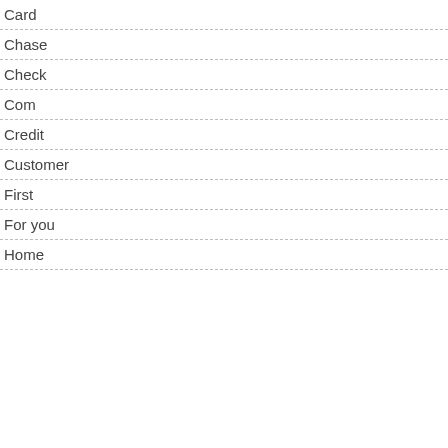Card
Chase
Check
Com
Credit
Customer
First
For you
Home